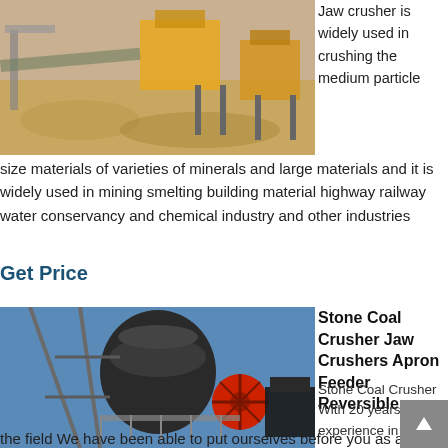[Figure (photo): Jaw crusher machinery at a quarry/mining site with yellow machinery components and sandy/rocky ground]
Jaw crusher is widely used in crushing the medium particle size materials of varieties of minerals and large materials and it is widely used in mining smelting building material highway railway water conservancy and chemical industry and other industries
Get Price
[Figure (photo): Large stone coal crusher industrial machinery with black cylindrical body and red flywheel, set against blue sky]
Stone Coal Crusher Jaw Crushers Apron Feeder Reversible
Stone Coal Crusher With 20 years wide experience in the field We have been able to put ourselves before you as a leading